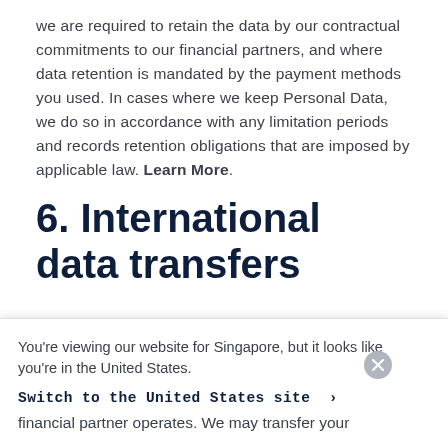we are required to retain the data by our contractual commitments to our financial partners, and where data retention is mandated by the payment methods you used. In cases where we keep Personal Data, we do so in accordance with any limitation periods and records retention obligations that are imposed by applicable law. Learn More.
6. International data transfers
We are a global business. Personal Data may be stored
You're viewing our website for Singapore, but it looks like you're in the United States.
Switch to the United States site ›
financial partner operates. We may transfer your